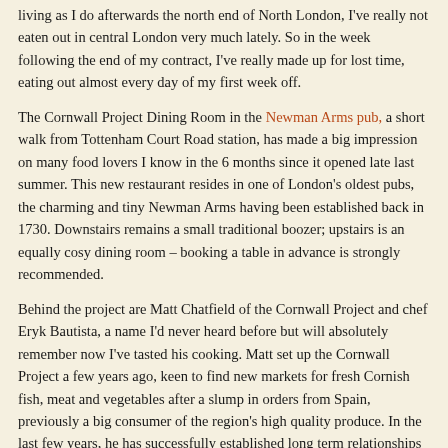living as I do afterwards the north end of North London, I've really not eaten out in central London very much lately. So in the week following the end of my contract, I've really made up for lost time, eating out almost every day of my first week off.
The Cornwall Project Dining Room in the Newman Arms pub, a short walk from Tottenham Court Road station, has made a big impression on many food lovers I know in the 6 months since it opened late last summer. This new restaurant resides in one of London's oldest pubs, the charming and tiny Newman Arms having been established back in 1730. Downstairs remains a small traditional boozer; upstairs is an equally cosy dining room – booking a table in advance is strongly recommended.
Behind the project are Matt Chatfield of the Cornwall Project and chef Eryk Bautista, a name I'd never heard before but will absolutely remember now I've tasted his cooking. Matt set up the Cornwall Project a few years ago, keen to find new markets for fresh Cornish fish, meat and vegetables after a slump in orders from Spain, previously a big consumer of the region's high quality produce. In the last few years, he has successfully established long term relationships to supply some of London's top restaurants including The Ledbury, Lyle's and Pitt Cue. More recently, he has teamed up with chefs to establish residencies in pubs, the Newman Arms being the latest of these partnerships.
[Figure (other): Empty bordered box at the bottom of the page]